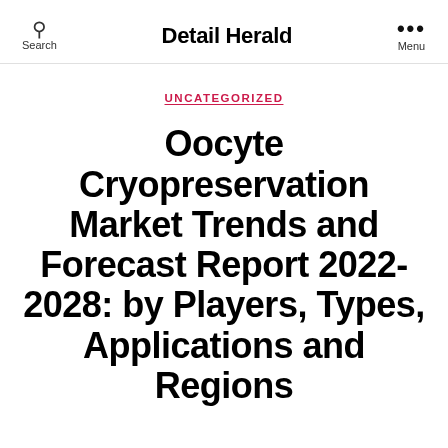Search | Detail Herald | Menu
UNCATEGORIZED
Oocyte Cryopreservation Market Trends and Forecast Report 2022-2028: by Players, Types, Applications and Regions